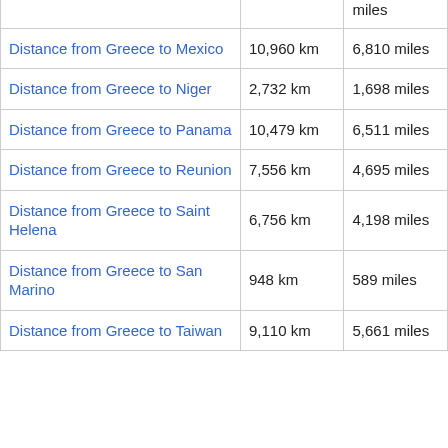| Route | km | miles |
| --- | --- | --- |
| Distance from Greece to Mexico | 10,960 km | 6,810 miles |
| Distance from Greece to Niger | 2,732 km | 1,698 miles |
| Distance from Greece to Panama | 10,479 km | 6,511 miles |
| Distance from Greece to Reunion | 7,556 km | 4,695 miles |
| Distance from Greece to Saint Helena | 6,756 km | 4,198 miles |
| Distance from Greece to San Marino | 948 km | 589 miles |
| Distance from Greece to Taiwan | 9,110 km | 5,661 miles |